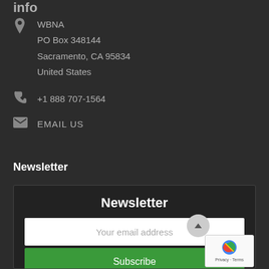info
WBNA
PO Box 348144
Sacramento, CA 95834
United States
+1 888 707-1564
EMAIL US
Newsletter
[Figure (screenshot): Newsletter signup widget with title 'Newsletter', an email address input field with placeholder 'Your email address', a green Subscribe button, a scroll-to-top circular button, and a reCAPTCHA badge showing 'Privacy · Terms']